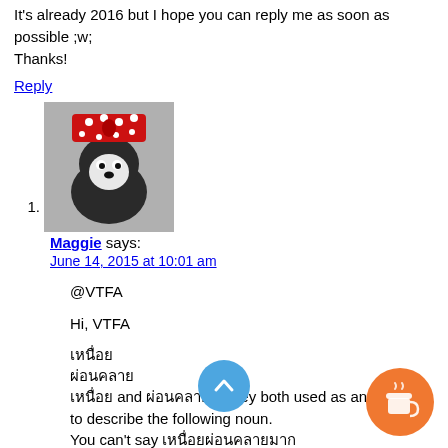It's already 2016 but I hope you can reply me as soon as possible ;w;
Thanks!
Reply
1. Maggie says: June 14, 2015 at 10:01 am
@VTFA

Hi, VTFA

[Thai text] and [Thai text] : They both used as an adjective to describe the following noun.
You can't say [Thai text]
Because when you describe the expression, you usually use the tense, [present perfect or past tense in English?) (completely) "(h been) tired/relaxed"

There I answered before a new year starts.
[Figure (illustration): Blue circular scroll-to-top button with upward chevron arrow]
[Figure (illustration): Orange circular coffee cup button (Buy me a coffee widget)]